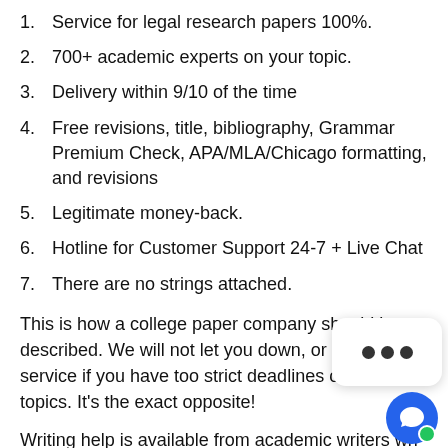1. Service for legal research papers 100%.
2. 700+ academic experts on your topic.
3. Delivery within 9/10 of the time
4. Free revisions, title, bibliography, Grammar Premium Check, APA/MLA/Chicago formatting, and revisions
5. Legitimate money-back.
6. Hotline for Customer Support 24-7 + Live Chat
7. There are no strings attached.
This is how a college paper company should be described. We will not let you down, or deny you service if you have too strict deadlines or difficult topics. It's the exact opposite!
Writing help is available from academic writers who have solid credentials and a strong portfolio. They are